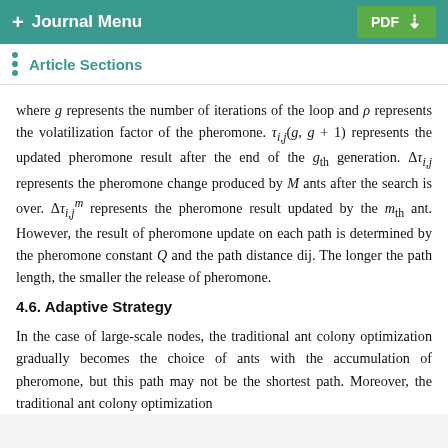+ Journal Menu   PDF ↓
Article Sections
where g represents the number of iterations of the loop and ρ represents the volatilization factor of the pheromone. τ_{i,j}(g, g + 1) represents the updated pheromone result after the end of the g_th generation. Δτ_{i,j} represents the pheromone change produced by M ants after the search is over. Δτ^m_{i,j} represents the pheromone result updated by the m_th ant. However, the result of pheromone update on each path is determined by the pheromone constant Q and the path distance dij. The longer the path length, the smaller the release of pheromone.
4.6. Adaptive Strategy
In the case of large-scale nodes, the traditional ant colony optimization gradually becomes the choice of ants with the accumulation of pheromone, but this path may not be the shortest path. Moreover, the traditional ant colony optimization is often prone to fall into the local optima...